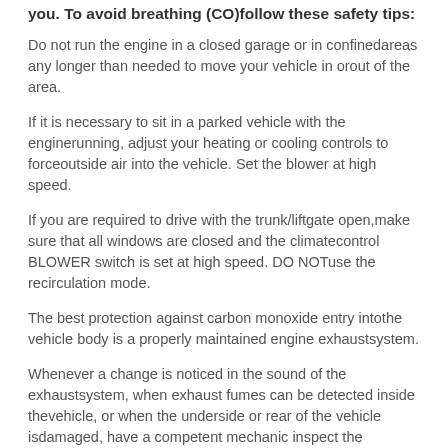you. To avoid breathing (CO)follow these safety tips:
Do not run the engine in a closed garage or in confinedareas any longer than needed to move your vehicle in orout of the area.
If it is necessary to sit in a parked vehicle with the enginerunning, adjust your heating or cooling controls to forceoutside air into the vehicle. Set the blower at high speed.
If you are required to drive with the trunk/liftgate open,make sure that all windows are closed and the climatecontrol BLOWER switch is set at high speed. DO NOTuse the recirculation mode.
The best protection against carbon monoxide entry intothe vehicle body is a properly maintained engine exhaustsystem.
Whenever a change is noticed in the sound of the exhaustsystem, when exhaust fumes can be detected inside thevehicle, or when the underside or rear of the vehicle isdamaged, have a competent mechanic inspect the completeexhaust system and adjacent body areas for broken,damaged, deteriorated, or mispositioned parts. Openseams or loose connections could permit exhaust fumesto seep into the passenger compartment. In